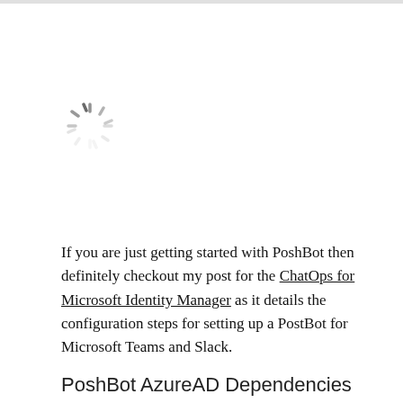[Figure (other): A loading spinner icon (circular dashed loading indicator) centered in the upper portion of the page.]
If you are just getting started with PoshBot then definitely checkout my post for the ChatOps for Microsoft Identity Manager as it details the configuration steps for setting up a PostBot for Microsoft Teams and Slack.
PoshBot AzureAD Dependencies